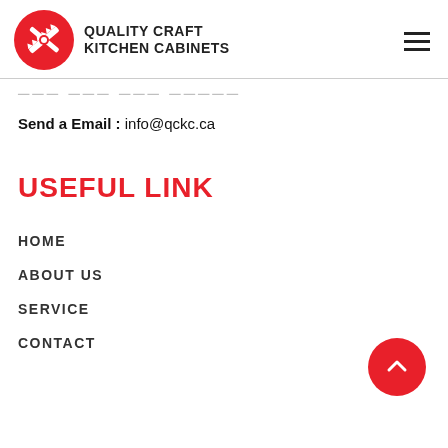[Figure (logo): Quality Craft Kitchen Cabinets logo: red circle with crossed tools (saw and other) icon, and bold text 'QUALITY CRAFT KITCHEN CABINETS' to the right]
Send a Email : info@qckc.ca
USEFUL LINK
HOME
ABOUT US
SERVICE
CONTACT